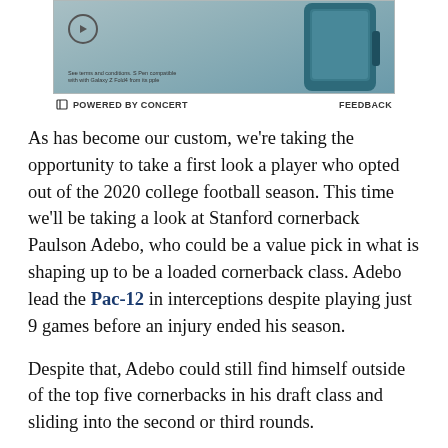[Figure (photo): Advertisement banner showing a Samsung Galaxy Z Fold phone with teal/dark blue color against a muted teal background, with a circular play button icon on the left and small disclaimer text at the bottom left.]
⊏ POWERED BY CONCERT    FEEDBACK
As has become our custom, we're taking the opportunity to take a first look a player who opted out of the 2020 college football season. This time we'll be taking a look at Stanford cornerback Paulson Adebo, who could be a value pick in what is shaping up to be a loaded cornerback class. Adebo lead the Pac-12 in interceptions despite playing just 9 games before an injury ended his season.
Despite that, Adebo could still find himself outside of the top five cornerbacks in his draft class and sliding into the second or third rounds.